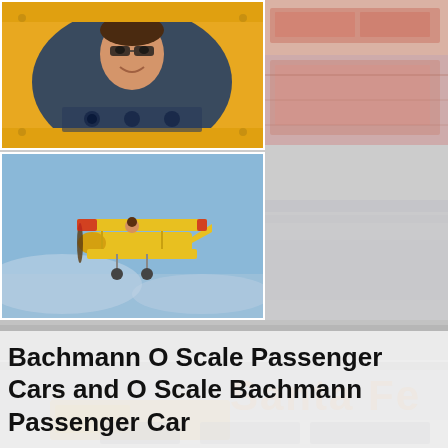[Figure (photo): Collage background of faded train cars and locomotives including Santa Fe railroad cars, with 'Santa Fe' text visible in the middle portion]
[Figure (photo): Small photo of a man smiling inside a yellow aircraft cockpit, viewed from outside through windshield]
[Figure (photo): Small photo of a yellow biplane in flight over open water/sky]
Bachmann O Scale Passenger Cars and O Scale Bachmann Passenger Car